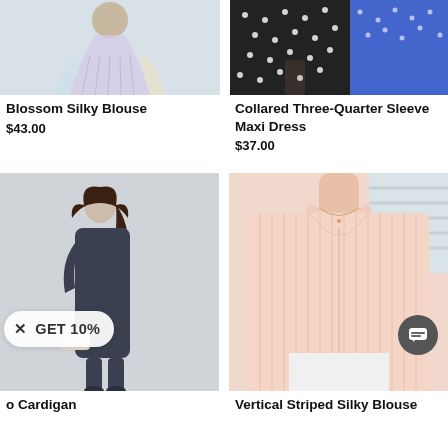[Figure (photo): Woman wearing a colorful flowing pleated maxi skirt/blouse — Blossom Silky Blouse product photo]
Blossom Silky Blouse
$43.00
[Figure (photo): Model wearing a collared three-quarter sleeve maxi dress in black/white dot and blue floral pattern]
Collared Three-Quarter Sleeve Maxi Dress
$37.00
[Figure (photo): Woman in a dark gray oversized long dress holding a beige tote bag — Cardigan product photo]
o Cardigan
[Figure (photo): Model wearing a pink vertical striped silky blouse with collar]
Vertical Striped Silky Blouse
× GET 10%